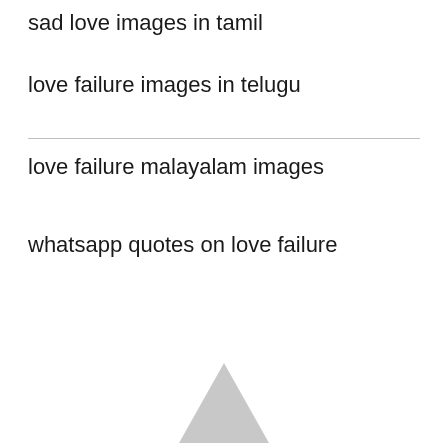sad love images in tamil
love failure images in telugu
love failure malayalam images
whatsapp quotes on love failure
[Figure (illustration): A light gray upward-pointing triangle/arrow icon at the bottom center of the page]